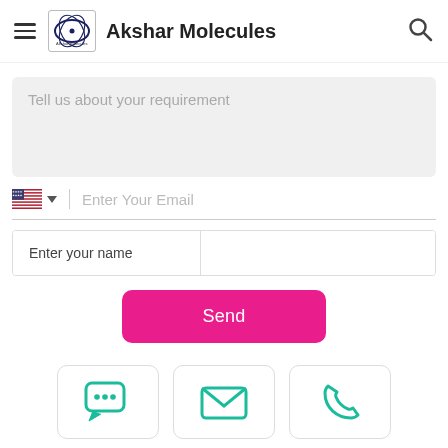Akshar Molecules
Tell us about your requirement
Enter Your Email
Enter your name
Send
[Figure (illustration): Three contact icons: chat bubble with ellipsis, envelope/email icon, and phone icon, each in a rounded rectangle card, teal color]